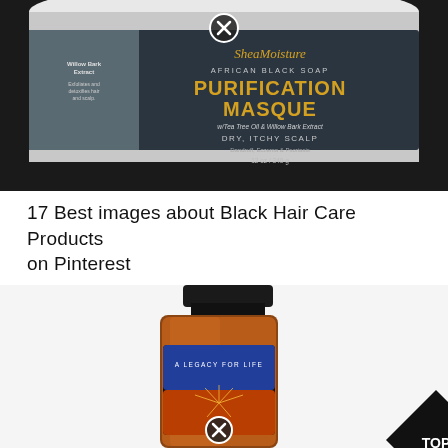[Figure (photo): Close-up photo of a SheaMoisture African Black Soap Purification Masque container with black label. Label shows: Willow Bark Extract, AFRICAN BLACK SOAP, PURIFICATION MASQUE, w/Tea Tree Oil & Willow Bark Extract, DRY, ITCHY SCALP, Dandruff, Eczema & Psoriasis, 12 oz / 340 g. A close button (X in circle) overlaid near the top center.]
17 Best images about Black Hair Care Products on Pinterest
[Figure (photo): Photo of an amber glass bottle with dark cap labeled 'A LEGACY FOR LIFE'. The bottle has a colorful gradient label with a sunburst design. A close button (X in circle) is overlaid near the bottom center of the bottle. A black diamond-shaped badge in the lower right reads 'TOP'.]